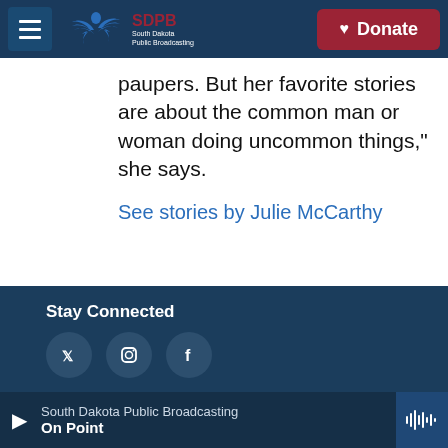SDPB South Dakota Public Broadcasting | Donate
paupers. But her favorite stories are about the common man or woman doing uncommon things," she says.
See stories by Julie McCarthy
Stay Connected
[Figure (screenshot): Social media icon circles (Twitter/X, Instagram, Facebook) on dark blue footer background]
South Dakota Public Broadcasting | On Point